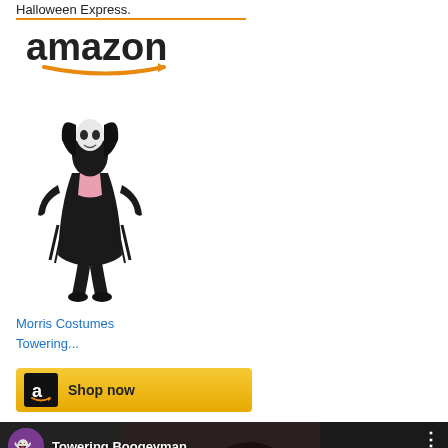Halloween Express.
[Figure (logo): Amazon logo with orange arrow swoosh underneath the wordmark]
[Figure (photo): Halloween costume figure – tall cloaked skeleton/boogeyman character in black robe with pink accents, standing pose]
Morris Costumes Towering...
[Figure (screenshot): Amazon Shop now button with gold/yellow background and Amazon 'a' logo icon on black square]
[Figure (screenshot): YouTube video thumbnail showing the Towering Boogeyman costume in a store setting, with red YouTube play button overlay, channel avatar, video title 'Towering Boogeyman', scroll-up button, and three-dot menu]